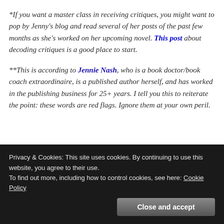*If you want a master class in receiving critiques, you might want to pop by Jenny's blog and read several of her posts of the past few months as she's worked on her upcoming novel. This post about decoding critiques is a good place to start.
**This is according to Jennie Nash, who is a book doctor/book coach extraordinaire, is a published author herself, and has worked in the publishing business for 25+ years. I tell you this to reiterate the point: these words are red flags. Ignore them at your own peril.
Privacy & Cookies: This site uses cookies. By continuing to use this website, you agree to their use.
To find out more, including how to control cookies, see here: Cookie Policy